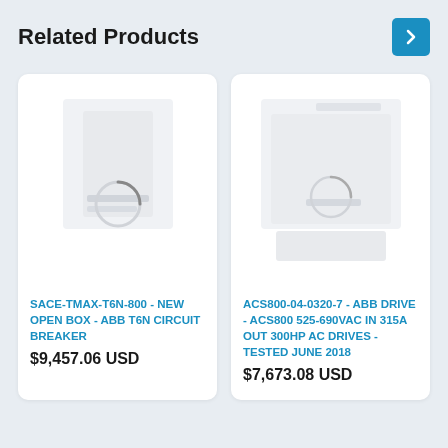Related Products
[Figure (screenshot): Loading spinner / product image placeholder for SACE-TMAX-T6N-800 circuit breaker]
SACE-TMAX-T6N-800 - NEW OPEN BOX - ABB T6N CIRCUIT BREAKER
$9,457.06 USD
[Figure (screenshot): Loading spinner / product image placeholder for ACS800-04-0320-7 ABB drive]
ACS800-04-0320-7 - ABB DRIVE - ACS800 525-690VAC IN 315A OUT 300HP AC DRIVES - TESTED JUNE 2018
$7,673.08 USD